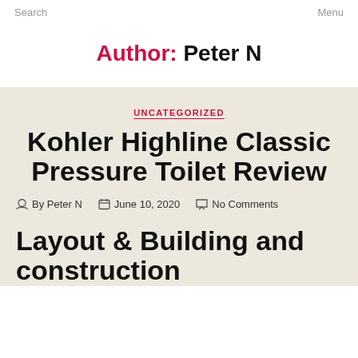Search    Menu
Author: Peter N
UNCATEGORIZED
Kohler Highline Classic Pressure Toilet Review
By Peter N  June 10, 2020  No Comments
Layout & Building and construction